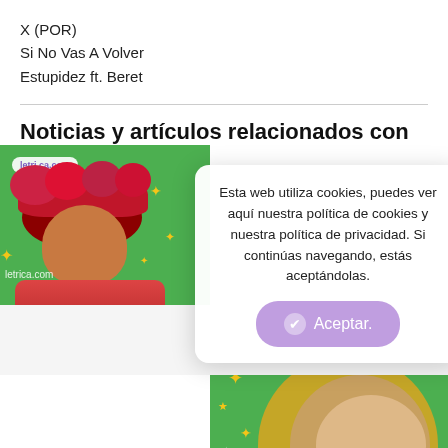X (POR)
Si No Vas A Volver
Estupidez ft. Beret
Noticias y artículos relacionados con
[Figure (screenshot): Two article card images with green backgrounds showing a woman with flower crown on left and a blonde woman on right, partially visible]
Esta web utiliza cookies, puedes ver aquí nuestra política de cookies y nuestra política de privacidad. Si continúas navegando, estás aceptándolas.
Aceptar.